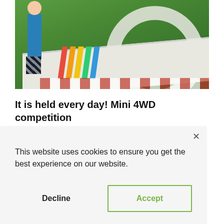[Figure (photo): Photo of a Mini 4WD racing track on a green surface, with colorful lane markings (red, orange, yellow, green, blue) and a curved section. A person in colorful pants stands near the track. The track has decorative markings and small model cars visible.]
It is held every day! Mini 4WD competition
ne
ys)
ce in
. In
pace
This website uses cookies to ensure you get the best experience on our website.